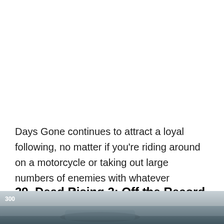Days Gone continues to attract a loyal following, no matter if you're riding around on a motorcycle or taking out large numbers of enemies with whatever weapons and equipment you have at your disposal.
29. Dead Rising 2: Off the Record
[Figure (photo): Bottom strip showing a partial photo, likely a game screenshot with a vehicle or scene, with '300' watermark visible in upper left.]